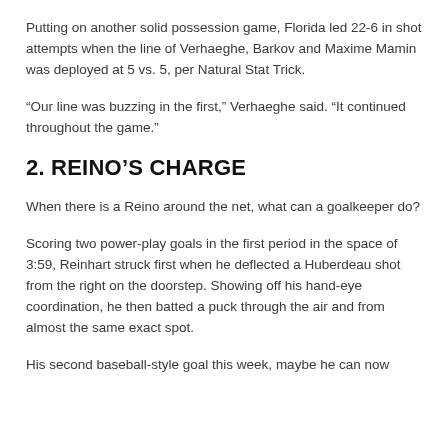Putting on another solid possession game, Florida led 22-6 in shot attempts when the line of Verhaeghe, Barkov and Maxime Mamin was deployed at 5 vs. 5, per Natural Stat Trick.
“Our line was buzzing in the first,” Verhaeghe said. “It continued throughout the game.”
2. REINO’S CHARGE
When there is a Reino around the net, what can a goalkeeper do?
Scoring two power-play goals in the first period in the space of 3:59, Reinhart struck first when he deflected a Huberdeau shot from the right on the doorstep. Showing off his hand-eye coordination, he then batted a puck through the air and from almost the same exact spot.
His second baseball-style goal this week, maybe he can now